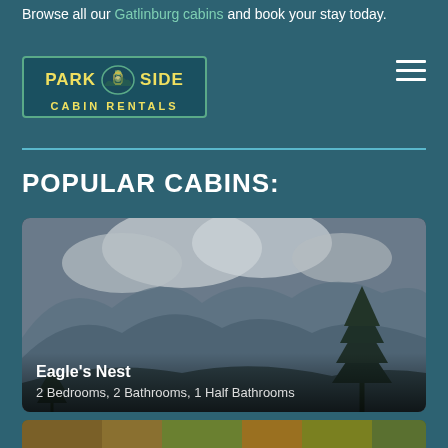Browse all our Gatlinburg cabins and book your stay today.
[Figure (logo): Park Side Cabin Rentals logo with lantern icon, green oval border, yellow text]
[Figure (other): Hamburger menu icon (three horizontal lines) in white]
POPULAR CABINS:
[Figure (photo): Mountain landscape with misty blue ridges, pine tree on right side, cloudy sky — Eagle's Nest cabin card]
Eagle's Nest — 2 Bedrooms, 2 Bathrooms, 1 Half Bathrooms
[Figure (photo): Second cabin card partially visible at bottom showing autumn foliage scene]